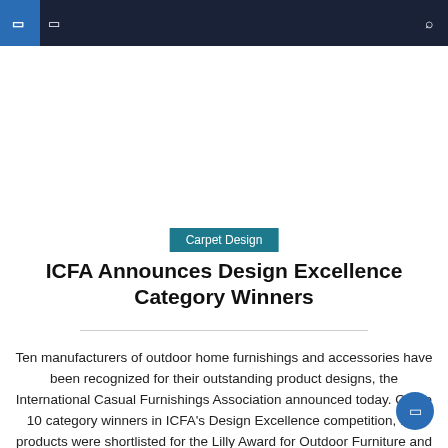Navigation bar with logo and search icon
Carpet Design
ICFA Announces Design Excellence Category Winners
Ten manufacturers of outdoor home furnishings and accessories have been recognized for their outstanding product designs, the International Casual Furnishings Association announced today. Of the 10 category winners in ICFA's Design Excellence competition, two products were shortlisted for the Lilly Award for Outdoor Furniture and